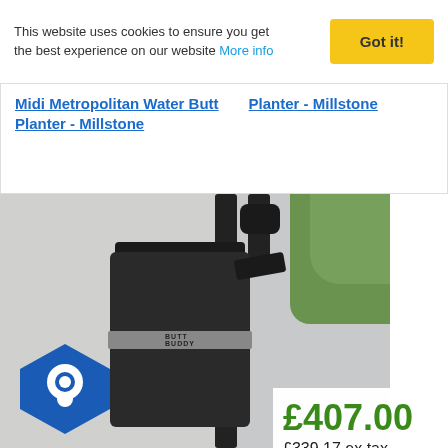This website uses cookies to ensure you get the best experience on our website More info Got it!
Midi Metropolitan Water Butt Planter - Millstone | Planter - Millstone
[Figure (photo): A dark/charcoal colored water butt tank (labeled BUTT BUDDY) mounted on a wall with a downpipe connection. Trees visible in background. A blue hexagonal chat icon in lower-left corner.]
£407.00
£339.17 ex tax
ADD TO CART